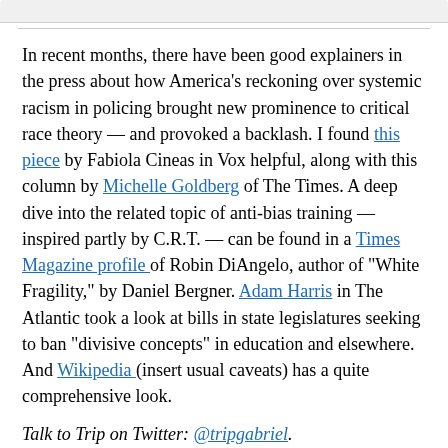In recent months, there have been good explainers in the press about how America's reckoning over systemic racism in policing brought new prominence to critical race theory — and provoked a backlash. I found this piece by Fabiola Cineas in Vox helpful, along with this column by Michelle Goldberg of The Times. A deep dive into the related topic of anti-bias training — inspired partly by C.R.T. — can be found in a Times Magazine profile of Robin DiAngelo, author of "White Fragility," by Daniel Bergner. Adam Harris in The Atlantic took a look at bills in state legislatures seeking to ban "divisive concepts" in education and elsewhere. And Wikipedia (insert usual caveats) has a quite comprehensive look.
Talk to Trip on Twitter: @tripgabriel.